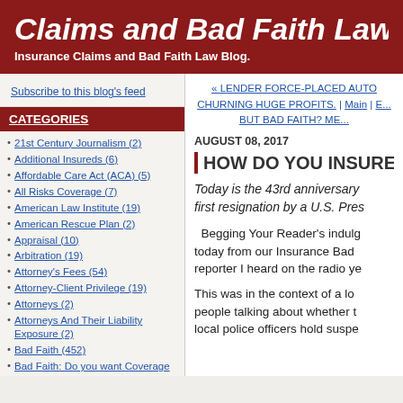Claims and Bad Faith Law Blo
Insurance Claims and Bad Faith Law Blog.
Subscribe to this blog's feed
CATEGORIES
21st Century Journalism (2)
Additional Insureds (6)
Affordable Care Act (ACA) (5)
All Risks Coverage (7)
American Law Institute (19)
American Rescue Plan (2)
Appraisal (10)
Arbitration (19)
Attorney's Fees (54)
Attorney-Client Privilege (19)
Attorneys (2)
Attorneys And Their Liability Exposure (2)
Bad Faith (452)
Bad Faith: Do you want Coverage with that? (167)
Bodily Injury (1)
« LENDER FORCE-PLACED AUTO CHURNING HUGE PROFITS. | Main | E... BUT BAD FAITH? ME...
AUGUST 08, 2017
HOW DO YOU INSURE AO
Today is the 43rd anniversary first resignation by a U.S. Pres
Begging Your Reader's indulg today from our Insurance Bad reporter I heard on the radio ye
This was in the context of a lo people talking about whether t local police officers hold suspe